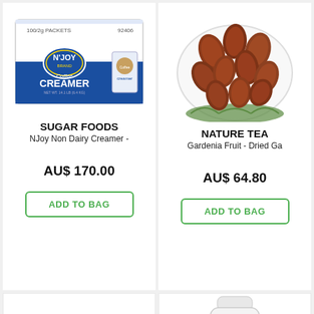[Figure (photo): NJoy Non Dairy Creamer product box — white box with blue stripe, '100/2g PACKETS', '92406', NJoy logo]
SUGAR FOODS
NJoy Non Dairy Creamer -
AU$ 170.00
ADD TO BAG
[Figure (photo): Gardenia Fruit - Dried Ga shown on a white plate with green garnish]
NATURE TEA
Gardenia Fruit - Dried Ga
AU$ 64.80
ADD TO BAG
[Figure (photo): Dried pink rose buds in a dark bowl]
[Figure (photo): White supplement bottle labeled Mutamba]